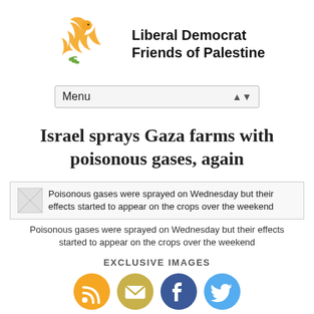[Figure (logo): Liberal Democrat Friends of Palestine logo — a golden/orange stylized bird/flame with olive branch, and bold black text reading 'Liberal Democrat Friends of Palestine']
[Figure (other): Menu dropdown UI element with 'Menu' text and up/down arrow selector]
Israel sprays Gaza farms with poisonous gases, again
[Figure (photo): Thumbnail image placeholder with caption overlay: 'Poisonous gases were sprayed on Wednesday but their effects started to appear on the crops over the weekend']
Poisonous gases were sprayed on Wednesday but their effects started to appear on the crops over the weekend
EXCLUSIVE IMAGES
[Figure (other): Social media sharing icons: RSS (orange), Email (tan/gold), Facebook (blue), Twitter (light blue)]
Israel has sprayed Palestinian farms with poisonous gases that